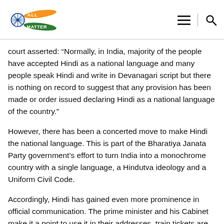All Indians Matter [logo with hamburger menu and search icon]
court asserted: “Normally, in India, majority of the people have accepted Hindi as a national language and many people speak Hindi and write in Devanagari script but there is nothing on record to suggest that any provision has been made or order issued declaring Hindi as a national language of the country.”
However, there has been a concerted move to make Hindi the national language. This is part of the Bharatiya Janata Party government’s effort to turn India into a monochrome country with a single language, a Hindutva ideology and a Uniform Civil Code.
Accordingly, Hindi has gained even more prominence in official communication. The prime minister and his Cabinet make it a point to use it in their addresses, train tickets are